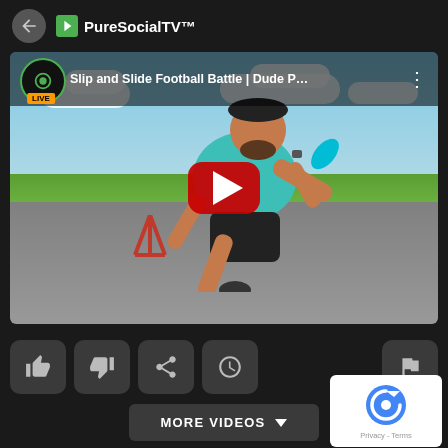PureSocialTV™
[Figure (screenshot): YouTube video thumbnail showing a man in a teal shirt sliding/falling on pavement with a red play button overlay. Video title: Slip and Slide Football Battle | Dude P... with LIVE badge and channel icon.]
[Figure (screenshot): Video player controls row with thumbs up, thumbs down, share, clock, and flag icon buttons. Also shows MORE VIDEOS dropdown button and a reCAPTCHA Privacy/Terms badge.]